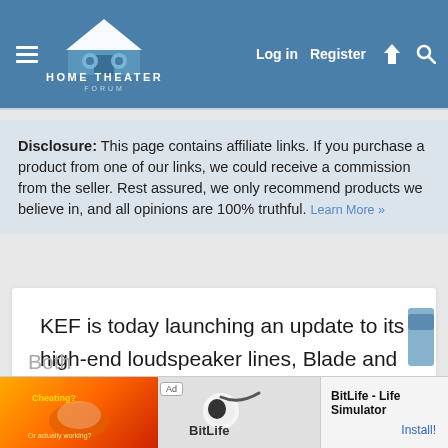Home Theater Forum — Log in  Register
Disclosure: This page contains affiliate links. If you purchase a product from one of our links, we could receive a commission from the seller. Rest assured, we only recommend products we believe in, and all opinions are 100% truthful. Learn More »
KEF is today launching an update to its high-end loudspeaker lines, Blade and The Reference. The two high-end speaker ranges have been updated with acoustic improvements, including a 12th Generation Uni-Q with Metamaterial Absorption Technology (MATTM), and redesigned crossovers with low distortion components.
[Figure (screenshot): Ad banner for BitLife - Life Simulator app showing orange and red graphic on left, BitLife logo on right, with Install button]